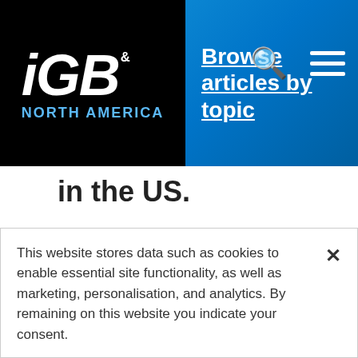iGB North America — Browse articles by topic
in the US.
Each of the multi-year agreements will allow the gambling operators to leverage official NFL marks within the sports betting category and activate around retail and online sports wagering.
This website stores data such as cookies to enable essential site functionality, as well as marketing, personalisation, and analytics. By remaining on this website you indicate your consent.